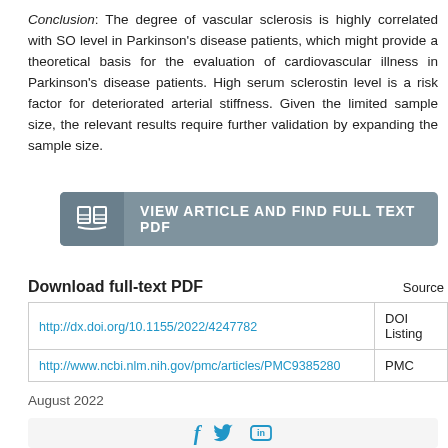Conclusion: The degree of vascular sclerosis is highly correlated with SO level in Parkinson's disease patients, which might provide a theoretical basis for the evaluation of cardiovascular illness in Parkinson's disease patients. High serum sclerostin level is a risk factor for deteriorated arterial stiffness. Given the limited sample size, the relevant results require further validation by expanding the sample size.
[Figure (other): Button labeled 'VIEW ARTICLE AND FIND FULL TEXT PDF' with a book icon on grey background]
| Download full-text PDF | Source |
| --- | --- |
| http://dx.doi.org/10.1155/2022/4247782 | DOI Listing |
| http://www.ncbi.nlm.nih.gov/pmc/articles/PMC9385280 | PMC |
August 2022
[Figure (other): Social media icons: Facebook, Twitter, LinkedIn]